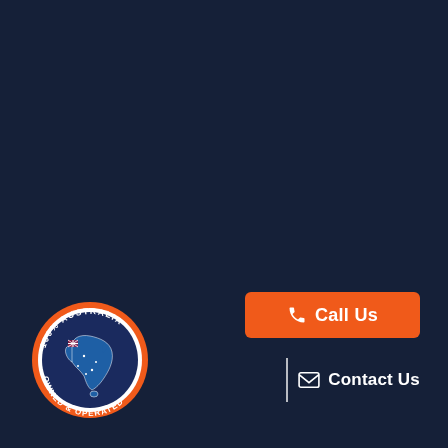[Figure (logo): 100% Australia Owned & Operated circular badge with Australian flag map in the center, orange border with white text]
[Figure (other): Orange 'Call Us' button with phone icon]
Contact Us